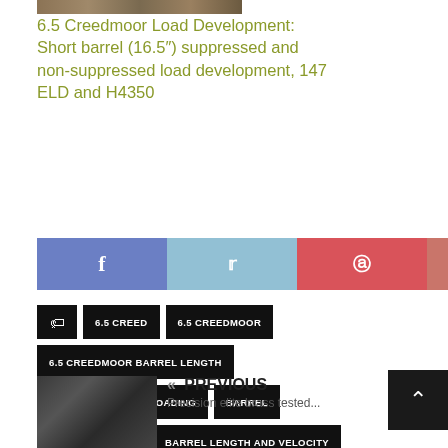[Figure (photo): Small horizontal strip image at top, appears to be a firearm/barrel related photo]
6.5 Creedmoor Load Development: Short barrel (16.5") suppressed and non-suppressed load development, 147 ELD and H4350
[Figure (infographic): Social sharing buttons: Facebook, Twitter, Pinterest, Google+, Email]
6.5 CREED
6.5 CREEDMOOR
6.5 CREEDMOOR BARREL LENGTH
6.5 CREEDMOOR RELOADING
BARREL
BARREL LENGTH
BARREL LENGTH AND VELOCITY
STARLINE 6.5 CREEDMOOR REVIEW
« PREVIOUS
Precision elite brass tested...